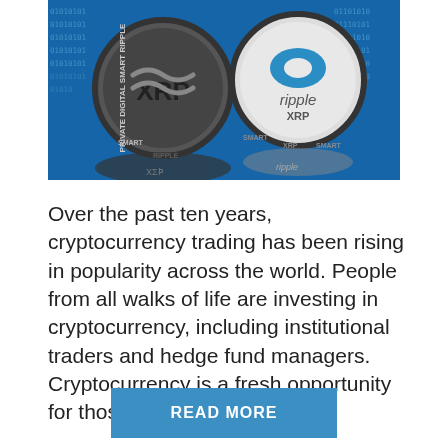[Figure (photo): Photo of XRP and Ripple cryptocurrency coins against a blue binary code background. Multiple metallic coins showing XRP and Ripple branding are displayed, including reflections.]
Over the past ten years, cryptocurrency trading has been rising in popularity across the world. People from all walks of life are investing in cryptocurrency, including institutional traders and hedge fund managers. Cryptocurrency is a fresh opportunity for those who cannot
READ MORE